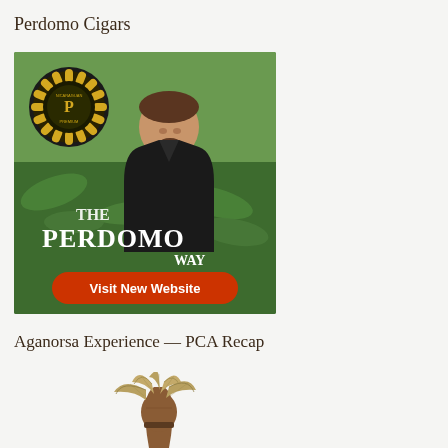Perdomo Cigars
[Figure (photo): Advertisement for Perdomo Cigars showing a man in a black shirt standing in a tobacco field with the Perdomo logo badge, text 'THE PERDOMO WAY', and a red button reading 'Visit New Website']
Aganorsa Experience — PCA Recap
[Figure (illustration): Illustration of a fist holding a bundle of tobacco leaves, Aganorsa brand logo style]